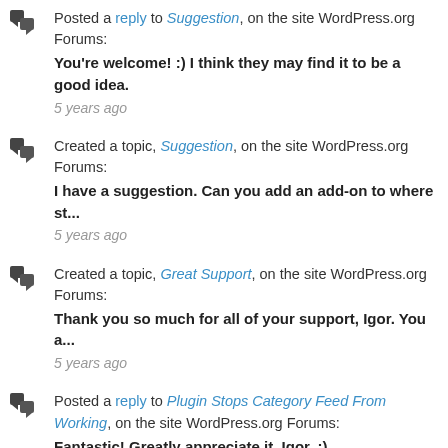Posted a reply to Suggestion, on the site WordPress.org Forums: You're welcome! :) I think they may find it to be a good idea. 5 years ago
Created a topic, Suggestion, on the site WordPress.org Forums: I have a suggestion. Can you add an add-on to where st... 5 years ago
Created a topic, Great Support, on the site WordPress.org Forums: Thank you so much for all of your support, Igor. You a... 5 years ago
Posted a reply to Plugin Stops Category Feed From Working, on the site WordPress.org Forums: Fantastic! Greatly appreciate it, Igor. :) 5 years ago
Posted a reply to Plugin Stops Category Feed From Working, on the site WordPress.org Forums: